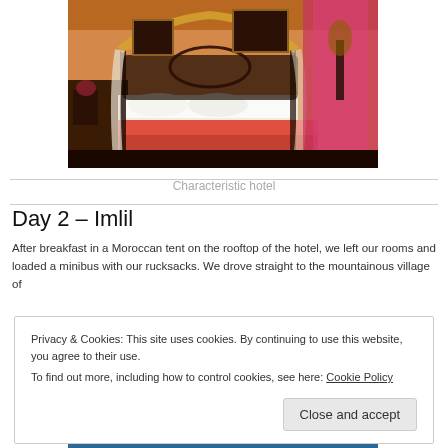[Figure (photo): Interior of a Moroccan-style hotel room with ornate four-poster bed with canopy drapes in gold and white, colorful bedspread, decorative paintings on the wall, and pink/red curtains in the background.]
Characteristic hotel
Day 2 – Imlil
After breakfast in a Moroccan tent on the rooftop of the hotel, we left our rooms and loaded a minibus with our rucksacks. We drove straight to the mountainous village of
Privacy & Cookies: This site uses cookies. By continuing to use this website, you agree to their use.
To find out more, including how to control cookies, see here: Cookie Policy
Close and accept
[Figure (photo): Bottom strip of a photo, likely a blue sky or landscape scene.]